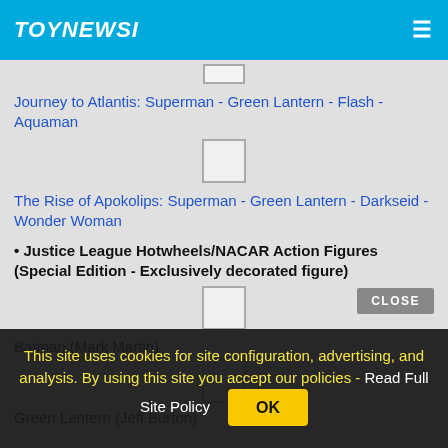TOYNEWSI
Journey to Atlantis: Superman - Green Lantern - Flash - Aquaman
The Rise of Apokolips: Superman - Green Lantern - Darkseid - Wonder Woman
• Justice League Hotwheels/NACAR Action Figures (Special Edition - Exclusively decorated figure)
Batman (Mark Martin)
Green Lantern (Jeff Burton)
This site uses cookies for site configuration, advertising, and analysis. By using this site you accept our policies - Read Full Site Policy
OK